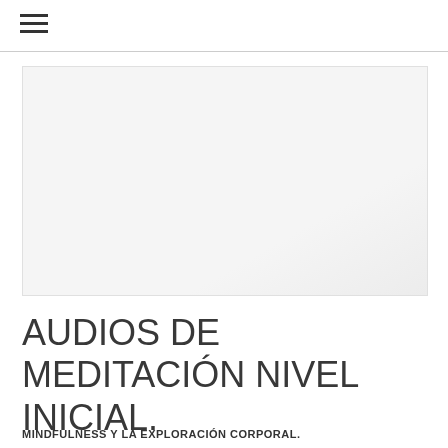≡
[Figure (photo): Hero image showing a light gray/white background, partially visible object at top right corner, mostly a light gray placeholder rectangle]
AUDIOS DE MEDITACIÓN NIVEL INICIAL.
MINDFULNESS Y LA EXPLORACIÓN CORPORAL.